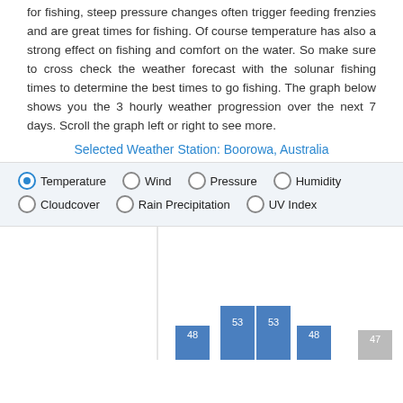for fishing, steep pressure changes often trigger feeding frenzies and are great times for fishing. Of course temperature has also a strong effect on fishing and comfort on the water. So make sure to cross check the weather forecast with the solunar fishing times to determine the best times to go fishing. The graph below shows you the 3 hourly weather progression over the next 7 days. Scroll the graph left or right to see more.
Selected Weather Station: Boorowa, Australia
[Figure (other): Radio button controls for weather chart type: Temperature (selected), Wind, Pressure, Humidity, Cloudcover, Rain Precipitation, UV Index]
[Figure (bar-chart): Temperature weather chart]